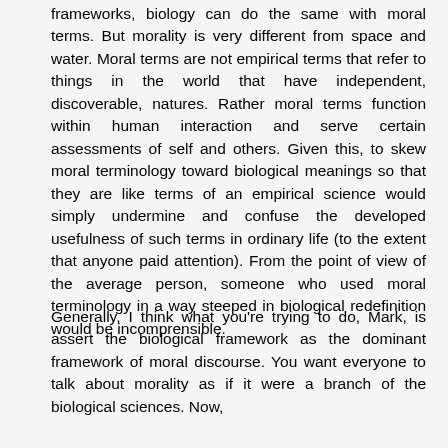frameworks, biology can do the same with moral terms. But morality is very different from space and water. Moral terms are not empirical terms that refer to things in the world that have independent, discoverable, natures. Rather moral terms function within human interaction and serve certain assessments of self and others. Given this, to skew moral terminology toward biological meanings so that they are like terms of an empirical science would simply undermine and confuse the developed usefulness of such terms in ordinary life (to the extent that anyone paid attention). From the point of view of the average person, someone who used moral terminology in a way steeped in biological redefinition would be incomprensible.
Generally, I think what you're trying to do, Mark, is assert the biological framework as the dominant framework of moral discourse. You want everyone to talk about morality as if it were a branch of the biological sciences. Now,